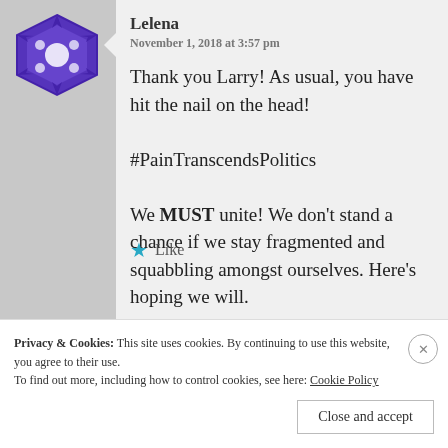[Figure (illustration): Purple decorative avatar/logo icon for user Lelena]
Lelena
November 1, 2018 at 3:57 pm
Thank you Larry! As usual, you have hit the nail on the head!

#PainTranscendsPolitics

We MUST unite! We don't stand a chance if we stay fragmented and squabbling amongst ourselves. Here's hoping we will.
★ Like
Privacy & Cookies: This site uses cookies. By continuing to use this website, you agree to their use.
To find out more, including how to control cookies, see here: Cookie Policy
Close and accept